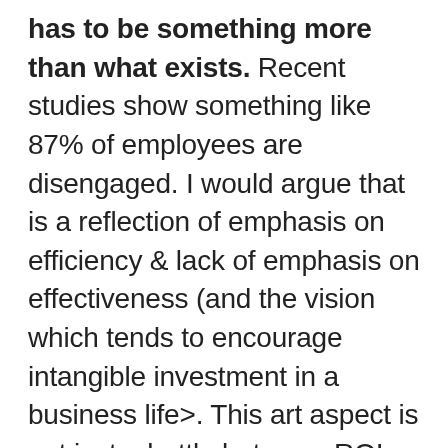has to be something more than what exists. Recent studies show something like 87% of employees are disengaged. I would argue that is a reflection of emphasis on efficiency & lack of emphasis on effectiveness (and the vision which tends to encourage intangible investment in a business life>. This art aspect is not just a battle between ROI versus meaning but also between those who have created their success from the 'science' and those who believe there must be something better.